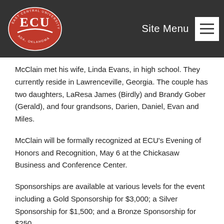[Figure (logo): East Central University (ECU) circular red logo with white lettering, Ada, Oklahoma]
Site Menu
McClain met his wife, Linda Evans, in high school. They currently reside in Lawrenceville, Georgia. The couple has two daughters, LaResa James (Birdly) and Brandy Gober (Gerald), and four grandsons, Darien, Daniel, Evan and Miles.
McClain will be formally recognized at ECU's Evening of Honors and Recognition, May 6 at the Chickasaw Business and Conference Center.
Sponsorships are available at various levels for the event including a Gold Sponsorship for $3,000; a Silver Sponsorship for $1,500; and a Bronze Sponsorship for $250.
Individual tickets are also available for $75 each. Advance tickets are recommended.